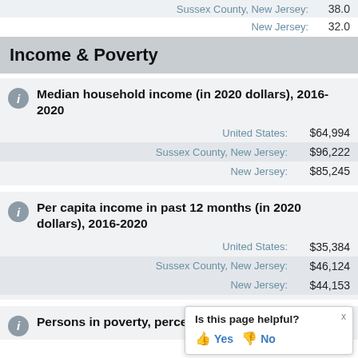Sussex County, New Jersey: 38.0
New Jersey: 32.0
Income & Poverty
Median household income (in 2020 dollars), 2016-2020
United States: $64,994
Sussex County, New Jersey: $96,222
New Jersey: $85,245
Per capita income in past 12 months (in 2020 dollars), 2016-2020
United States: $35,384
Sussex County, New Jersey: $46,124
New Jersey: $44,153
Persons in poverty, percent
Is this page helpful? Yes No